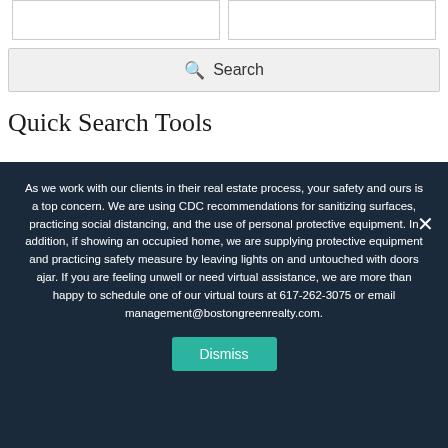[Figure (other): Two empty white input boxes side by side with grey borders]
[Figure (other): Search button with magnifying glass icon and text 'Search' on grey background]
Quick Search Tools
As we work with our clients in their real estate process, your safety and ours is a top concern. We are using CDC recommendations for sanitizing surfaces, practicing social distancing, and the use of personal protective equipment. In addition, if showing an occupied home, we are supplying protective equipment and practicing safety measure by leaving lights on and untouched with doors ajar. If you are feeling unwell or need virtual assistance, we are more than happy to schedule one of our virtual tours at 617-262-3075 or email management@bostongreenrealty.com.